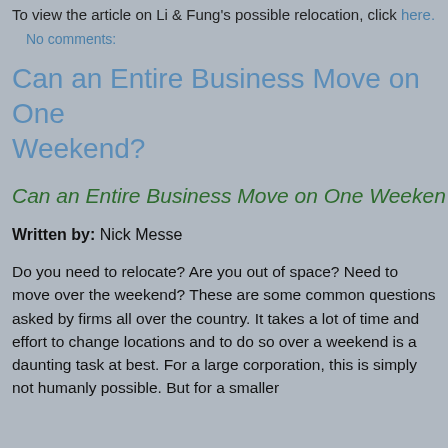To view the article on Li & Fung's possible relocation, click here.
No comments:
Can an Entire Business Move on One Weekend?
Can an Entire Business Move on One Weekend?
Written by: Nick Messe
Do you need to relocate? Are you out of space? Need to move over the weekend? These are some common questions asked by firms all over the country. It takes a lot of time and effort to change locations and to do so over a weekend is a daunting task at best. For a large corporation, this is simply not humanly possible. But for a smaller